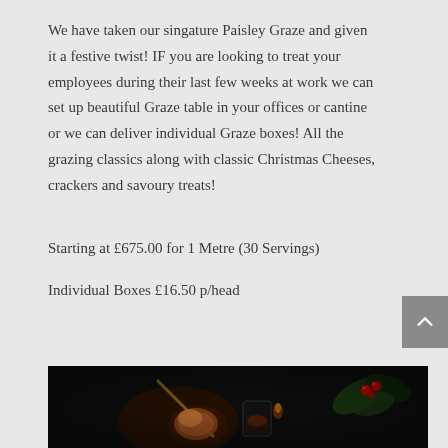We have taken our singature Paisley Graze and given it a festive twist! IF you are looking to treat your employees during their last few weeks at work we can set up beautiful Graze table in your offices or cantine or we can deliver individual Graze boxes! All the grazing classics along with classic Christmas Cheeses, crackers and savoury treats!
Starting at £675.00 for 1 Metre (30 Servings)
Individual Boxes £16.50 p/head
[Figure (photo): Dark food photography showing what appears to be fried food on a skewer, a glass mug with a warm drink, and holly leaves with red berries on a dark background.]